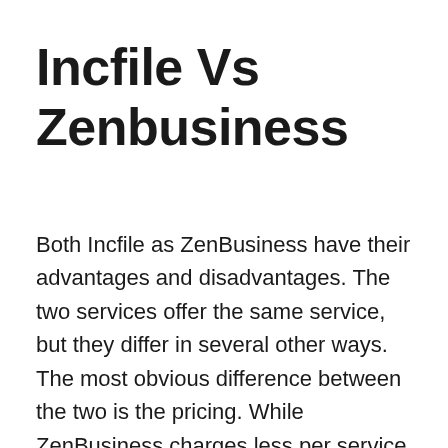Incfile Vs Zenbusiness
Both Incfile as ZenBusiness have their advantages and disadvantages. The two services offer the same service, but they differ in several other ways. The most obvious difference between the two is the pricing. While ZenBusiness charges less per service, Incfile offers cheaper prices. Incfile is also more user-friendly. Its website is well-organized and easy to navigate. ZenBusiness offers unlimited phone and email support. The company also offers chat support and customer service on Sundays. Incfile also has